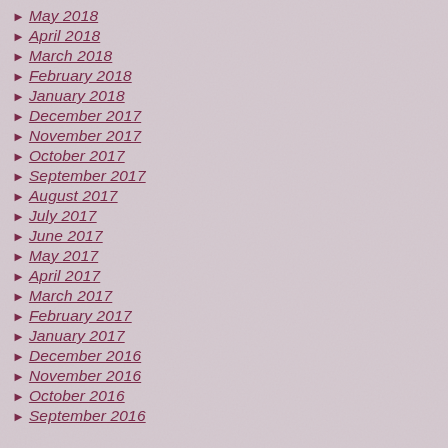May 2018
April 2018
March 2018
February 2018
January 2018
December 2017
November 2017
October 2017
September 2017
August 2017
July 2017
June 2017
May 2017
April 2017
March 2017
February 2017
January 2017
December 2016
November 2016
October 2016
September 2016